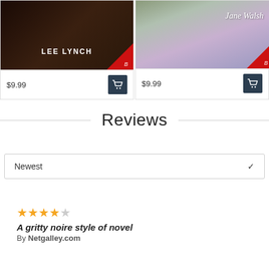[Figure (photo): Book cover for Lee Lynch novel, dark toned cover with cat silhouette, author name in white uppercase text, red badge in corner]
$9.99
[Figure (photo): Book cover for Jane Walsh novel, purple/lavender tones with woman in flowing gown, author name in stylized script, red badge in corner]
$9.99
Reviews
Newest
★★★★☆
A gritty noire style of novel
By Netgalley.com